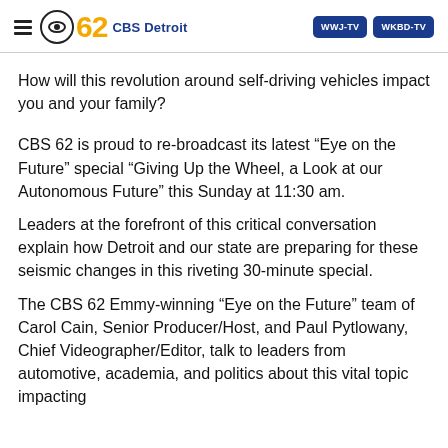≡ CBS 62 CBS Detroit | WWJ-TV | WKBD-TV
How will this revolution around self-driving vehicles impact you and your family?
CBS 62 is proud to re-broadcast its latest “Eye on the Future” special “Giving Up the Wheel, a Look at our Autonomous Future” this Sunday at 11:30 am.
Leaders at the forefront of this critical conversation explain how Detroit and our state are preparing for these seismic changes in this riveting 30-minute special.
The CBS 62 Emmy-winning “Eye on the Future” team of Carol Cain, Senior Producer/Host, and Paul Pytlowany, Chief Videographer/Editor, talk to leaders from automotive, academia, and politics about this vital topic impacting